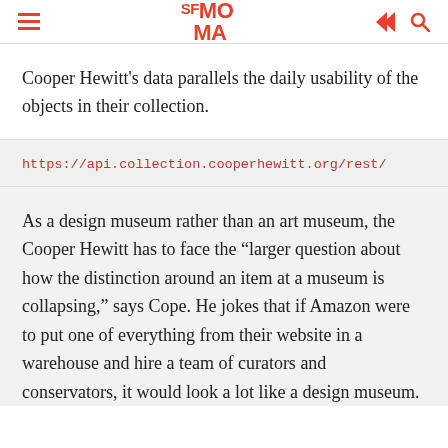SFMOMA
Cooper Hewitt’s data parallels the daily usability of the objects in their collection.
https://api.collection.cooperhewitt.org/rest/
As a design museum rather than an art museum, the Cooper Hewitt has to face the “larger question about how the distinction around an item at a museum is collapsing,” says Cope. He jokes that if Amazon were to put one of everything from their website in a warehouse and hire a team of curators and conservators, it would look a lot like a design museum.